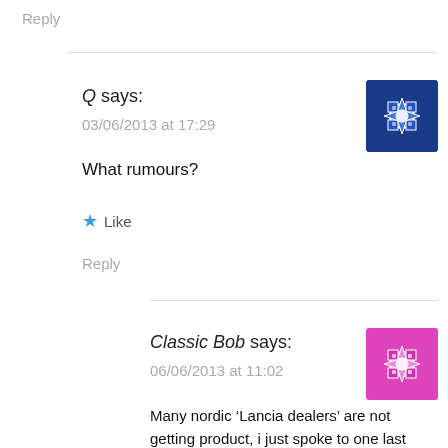Reply
Q says:
03/06/2013 at 17:29
What rumours?
★ Like
Reply
Classic Bob says:
06/06/2013 at 11:02
Many nordic ‘Lancia dealers’ are not getting product, i just spoke to one last week who was promised a delivery in March then in May and is still waiting...